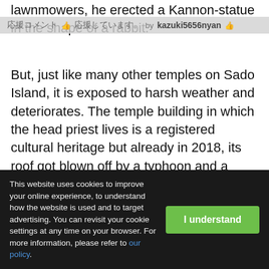lawnmowers, he erected a Kannon-statue in the shape of a rabbit.
But, just like many other temples on Sado Island, it is exposed to harsh weather and deteriorates. The temple building in which the head priest lives is a registered cultural heritage but already in 2018, its roof got blown off by a typhoon and a large restoration is urgently needed. The temple has only 40 parishioners supporting it and it doesn`t receive any subsidiary aid from the government. Therefore, the temple does not have the financial means to have the roof repaired. Currently the roof is only protected against the weather by a plastic sheet.
Hearing this story, it is hard for me to just watch an ancient
This website uses cookies to improve your online experience, to understand how the website is used and to target advertising. You can revisit your cookie settings at any time on your browser. For more information, please refer to our policy.